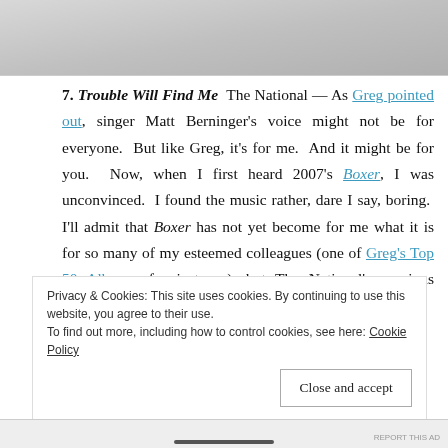[Figure (photo): Partially visible image at the top of the page, appears to be a grayscale/muted photo]
7. Trouble Will Find Me  The National — As Greg pointed out, singer Matt Berninger's voice might not be for everyone.  But like Greg, it's for me.  And it might be for you.  Now, when I first heard 2007's Boxer, I was unconvinced.  I found the music rather, dare I say, boring.  I'll admit that Boxer has not yet become for me what it is for so many of my esteemed colleagues (one of Greg's Top 50 Albums, for instance), but The National's previous record, 2010's High Violet,
Privacy & Cookies: This site uses cookies. By continuing to use this website, you agree to their use.
To find out more, including how to control cookies, see here: Cookie Policy
Close and accept